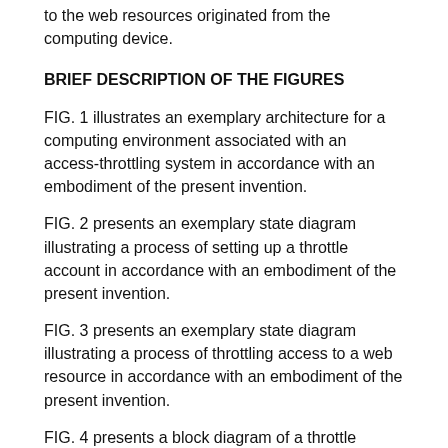to the web resources originated from the computing device.
BRIEF DESCRIPTION OF THE FIGURES
FIG. 1 illustrates an exemplary architecture for a computing environment associated with an access-throttling system in accordance with an embodiment of the present invention.
FIG. 2 presents an exemplary state diagram illustrating a process of setting up a throttle account in accordance with an embodiment of the present invention.
FIG. 3 presents an exemplary state diagram illustrating a process of throttling access to a web resource in accordance with an embodiment of the present invention.
FIG. 4 presents a block diagram of a throttle server in accordance with an embodiment of the present invention
FIG. 5 presents a block diagram of a web server implementing access throttling in accordance with an embodiment of the present invention.
FIG. 6 illustrates an exemplary computer system for